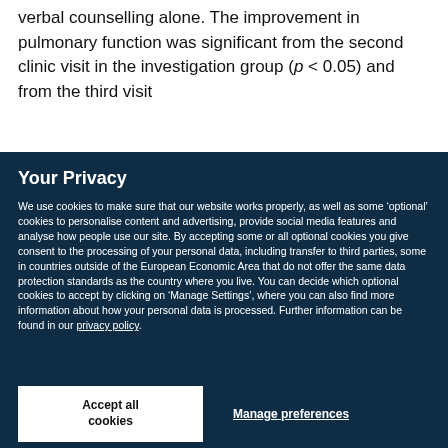verbal counselling alone. The improvement in pulmonary function was significant from the second clinic visit in the investigation group (p < 0.05) and from the third visit
Your Privacy
We use cookies to make sure that our website works properly, as well as some ‘optional’ cookies to personalise content and advertising, provide social media features and analyse how people use our site. By accepting some or all optional cookies you give consent to the processing of your personal data, including transfer to third parties, some in countries outside of the European Economic Area that do not offer the same data protection standards as the country where you live. You can decide which optional cookies to accept by clicking on ‘Manage Settings’, where you can also find more information about how your personal data is processed. Further information can be found in our privacy policy.
Accept all cookies
Manage preferences